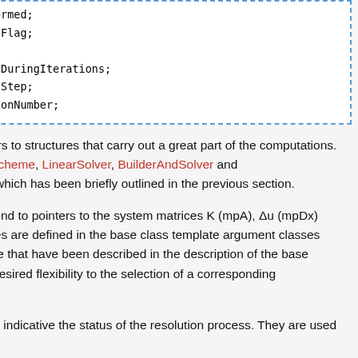[Figure (screenshot): Code block with dashed blue border showing C++ member variable declarations: bool mInitializeWasPerformed; bool mCalculateReactionsFlag; bool mKeepSystemConstantDuringIterations; bool mReformDofSetAtEachStep; unsigned int mMaxIterationNumber;]
The first four variables are pointers to structures that carry out a great part of the computations. These are instances of classes Scheme, LinearSolver, BuilderAndSolver and ConvergenceCriteria, the role of which has been briefly outlined in the previous section.
The next three variables correspond to pointers to the system matrices K (mpA), Δu (mpDx) and f (mpb). Their respective types are defined in the base class template argument classes TSparseSpace and TDenseSpace that have been described in the description of the base class' constructor, providing the desired flexibility to the selection of a corresponding LinearSolver.
The next three variables are flags indicative the status of the resolution process. They are used to control the internal workflow.